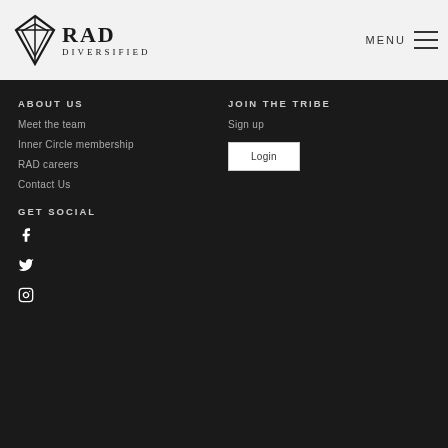RAD DIVERSIFIED — MENU
ABOUT US
Meet the team
Inner Circle membership
RAD careers
Contact Us
JOIN THE TRIBE
Sign up
Login
GET SOCIAL
[Figure (illustration): Facebook icon]
[Figure (illustration): Twitter icon]
[Figure (illustration): Instagram icon]